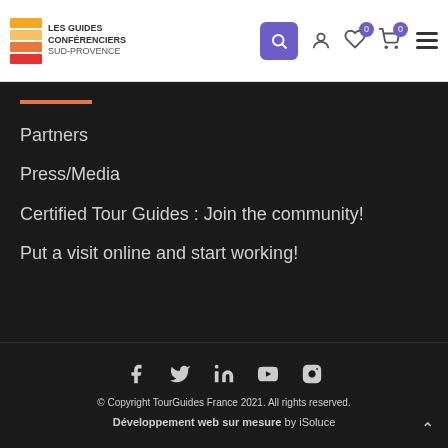Les Guides Conférenciers Sud-Provence — navigation header
Partners
Press/Media
Certified Tour Guides : Join the community!
Put a visit online and start working!
© Copyright TourGuides France 2021. All rights reserved. Développement web sur mesure by iSoluce